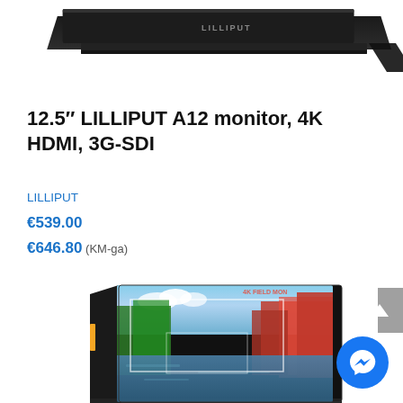[Figure (photo): Top portion of a Lilliput monitor device, dark/black color, shown from above at an angle, cropped at top of page]
12.5″ LILLIPUT A12 monitor, 4K HDMI, 3G-SDI
LILLIPUT
€539.00
€646.80 (KM-ga)
[Figure (photo): Lilliput field monitor showing a landscape scene with trees and a lake displayed on screen, 3/4 angle view, dark frame]
[Figure (other): Facebook Messenger chat button, blue circle with white lightning bolt/messenger icon]